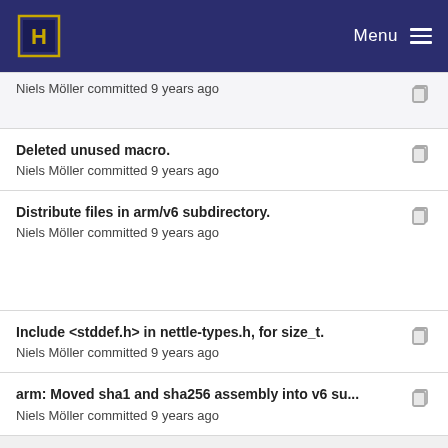Menu
Niels Möller committed 9 years ago
Deleted unused macro.
Niels Möller committed 9 years ago
Distribute files in arm/v6 subdirectory.
Niels Möller committed 9 years ago
Include <stddef.h> in nettle-types.h, for size_t.
Niels Möller committed 9 years ago
arm: Moved sha1 and sha256 assembly into v6 su...
Niels Möller committed 9 years ago